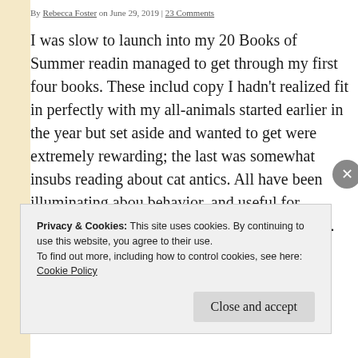By Rebecca Foster on June 29, 2019 | 23 Comments
I was slow to launch into my 20 Books of Summer reading, but I managed to get through my first four books. These include a review copy I hadn't realized fit in perfectly with my all-animals theme, one I started earlier in the year but set aside and wanted to get back to; three were extremely rewarding; the last was somewhat insubstantial but fun reading about cat antics. All have been illuminating about animals and behavior, and useful for thinking about our place in and connection to the human world. Not all of my 20 Books of Summer will have animals or nature – some just happen to have an animal in the title…
Privacy & Cookies: This site uses cookies. By continuing to use this website, you agree to their use.
To find out more, including how to control cookies, see here: Cookie Policy